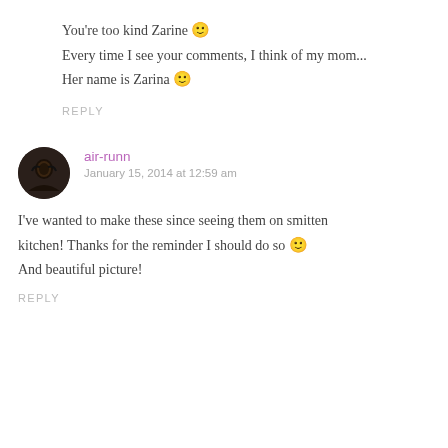You're too kind Zarine 🙂
Every time I see your comments, I think of my mom...
Her name is Zarina 🙂
REPLY
air-runn
January 15, 2014 at 12:59 am
I've wanted to make these since seeing them on smitten kitchen! Thanks for the reminder I should do so 🙂 And beautiful picture!
REPLY